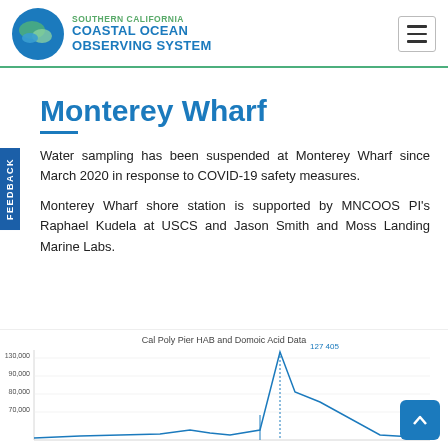[Figure (logo): Southern California Coastal Ocean Observing System logo with circular ocean/leaf icon and blue text]
Monterey Wharf
Water sampling has been suspended at Monterey Wharf since March 2020 in response to COVID-19 safety measures.
Monterey Wharf shore station is supported by MNCOOS PI's Raphael Kudela at USCS and Jason Smith and Moss Landing Marine Labs.
[Figure (line-chart): Partial line chart showing HAB and Domoic Acid data, with a spike labeled 127 405 visible]